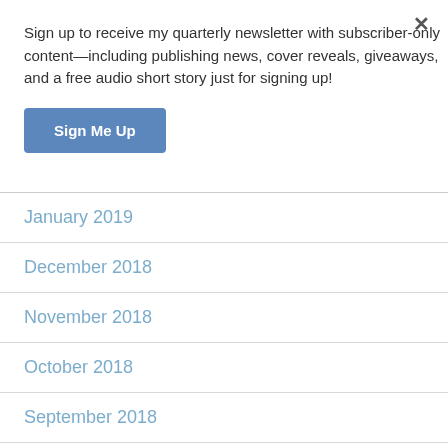Sign up to receive my quarterly newsletter with subscriber-only content—including publishing news, cover reveals, giveaways, and a free audio short story just for signing up!
Sign Me Up
January 2019
December 2018
November 2018
October 2018
September 2018
August 2018